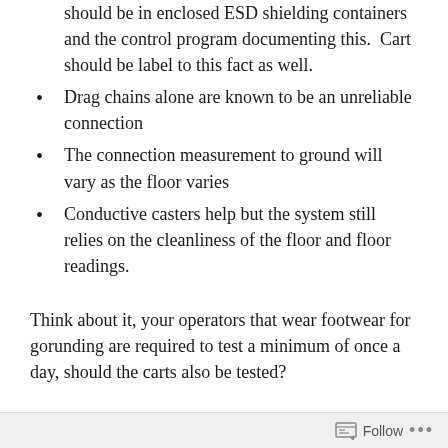should be in enclosed ESD shielding containers and the control program documenting this.  Cart should be label to this fact as well.
Drag chains alone are known to be an unreliable connection
The connection measurement to ground will vary as the floor varies
Conductive casters help but the system still relies on the cleanliness of the floor and floor readings.
Think about it, your operators that wear footwear for gorunding are required to test a minimum of once a day, should the carts also be tested?
Follow